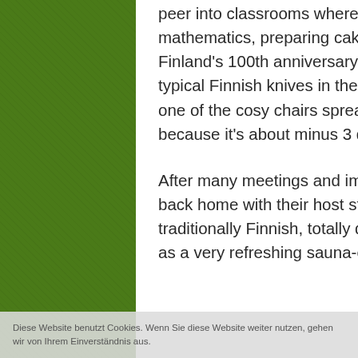peer into classrooms where Finnish students are busy learning mathematics, preparing cakes for a birthday-cake-competition (this year is Finland's 100th anniversary of independence from Sweden), producing typical Finnish knives in the technical room and enjoying their break in one of the cosy chairs spread all over the school - indoors of course, because it's about minus 3 degrees outside!
After many meetings and impressions on this very first day, students leave back home with their host students, and teachers are enjoying a traditionally Finnish, totally delicious and 100% homemade dinner as well as a very refreshing sauna-evening. And yes, some
Diese Website benutzt Cookies. Wenn Sie diese Website weiter nutzen, gehen wir von Ihrem Einverständnis aus.